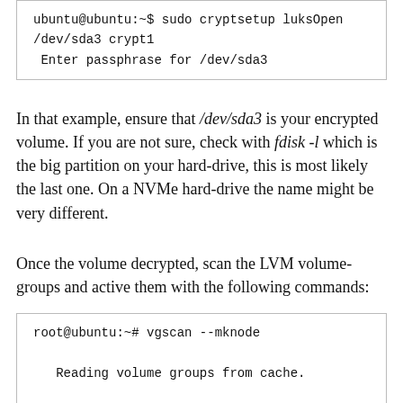ubuntu@ubuntu:~$ sudo cryptsetup luksOpen /dev/sda3 crypt1
 Enter passphrase for /dev/sda3
In that example, ensure that /dev/sda3 is your encrypted volume. If you are not sure, check with fdisk -l which is the big partition on your hard-drive, this is most likely the last one. On a NVMe hard-drive the name might be very different.
Once the volume decrypted, scan the LVM volume-groups and active them with the following commands:
root@ubuntu:~# vgscan --mknode

    Reading volume groups from cache.

    Found volume group "ubuntu-vg" using